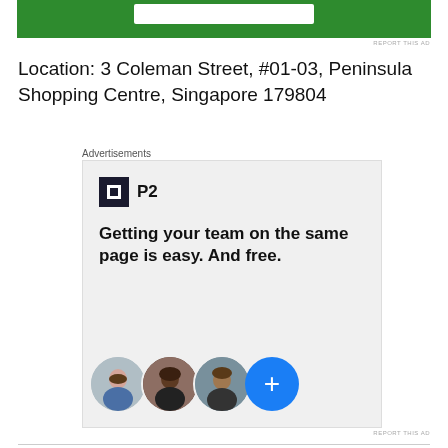[Figure (other): Top advertisement banner with green background and white search bar element]
REPORT THIS AD
Location: 3 Coleman Street, #01-03, Peninsula Shopping Centre, Singapore 179804
Advertisements
[Figure (other): P2 advertisement showing logo, headline 'Getting your team on the same page is easy. And free.' with three person avatars and a blue plus button]
REPORT THIS AD